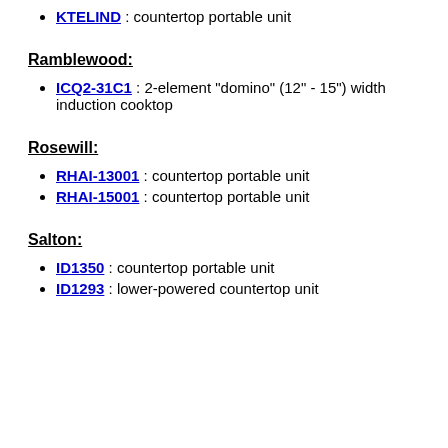KTELIND : countertop portable unit
Ramblewood:
ICQ2-31C1 : 2-element "domino" (12" - 15") width induction cooktop
Rosewill:
RHAI-13001 : countertop portable unit
RHAI-15001 : countertop portable unit
Salton:
ID1350 : countertop portable unit
ID1293 : lower-powered countertop unit